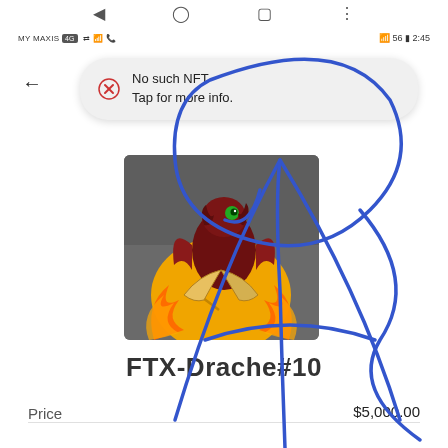MY MAXIS  2:45
No such NFT
Tap for more info.
[Figure (illustration): NFT artwork showing a red baby dragon emerging from a cracked yellow egg, surrounded by flames, on a dark background]
FTX-Drache#10
Price   $5,000.00